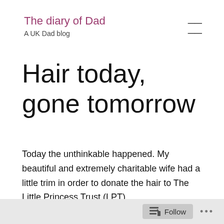The diary of Dad
A UK Dad blog
Hair today, gone tomorrow
Today the unthinkable happened. My beautiful and extremely charitable wife had a little trim in order to donate the hair to The Little Princess Trust (LPT).
Why is this worth a write up on a parenting blog?
Follow ...